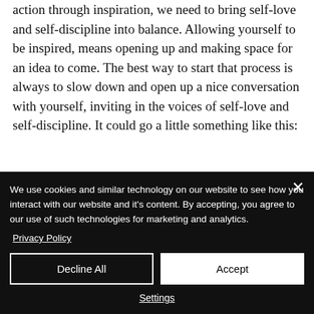action through inspiration, we need to bring self-love and self-discipline into balance. Allowing yourself to be inspired, means opening up and making space for an idea to come. The best way to start that process is always to slow down and open up a nice conversation with yourself, inviting in the voices of self-love and self-discipline. It could go a little something like this:
We use cookies and similar technology on our website to see how you interact with our website and it's content. By accepting, you agree to our use of such technologies for marketing and analytics.
Privacy Policy
Decline All
Accept
Settings